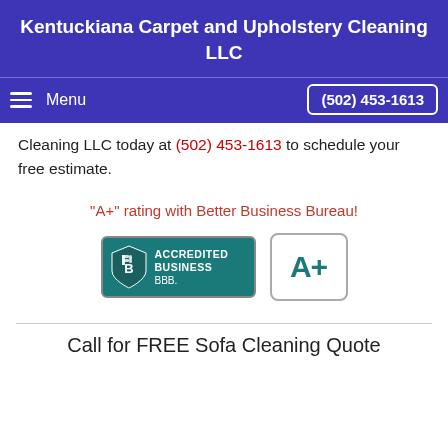Kentuckiana Carpet and Upholstery Cleaning LLC
Menu | (502) 453-1613
Cleaning LLC today at (502) 453-1613 to schedule your free estimate.
"A+" rating with Better Business Bureau!
[Figure (logo): BBB Accredited Business badge and A+ rating badge]
Call for FREE Sofa Cleaning Quote